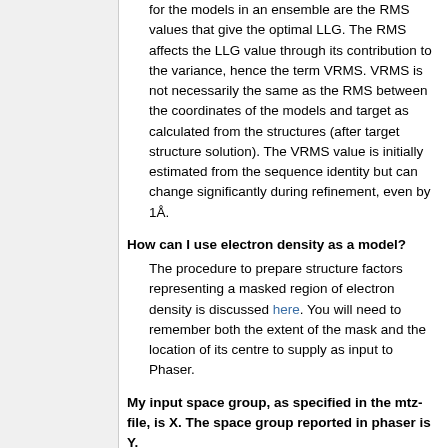for the models in an ensemble are the RMS values that give the optimal LLG. The RMS affects the LLG value through its contribution to the variance, hence the term VRMS. VRMS is not necessarily the same as the RMS between the coordinates of the models and target as calculated from the structures (after target structure solution). The VRMS value is initially estimated from the sequence identity but can change significantly during refinement, even by 1Å.
How can I use electron density as a model?
The procedure to prepare structure factors representing a masked region of electron density is discussed here. You will need to remember both the extent of the mask and the location of its centre to supply as input to Phaser.
My input space group, as specified in the mtz-file, is X. The space group reported in phaser is Y.
The important thing for Phaser is the set of symmetry operators in the MTZ header,